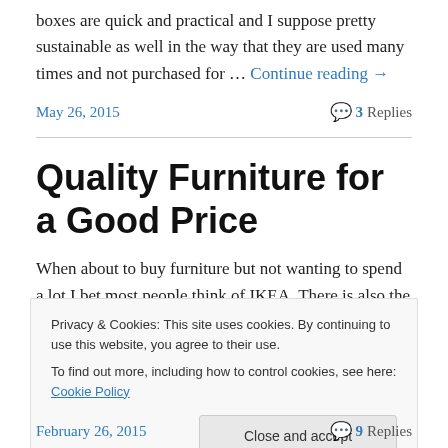boxes are quick and practical and I suppose pretty sustainable as well in the way that they are used many times and not purchased for … Continue reading →
May 26, 2015    💬 3 Replies
Quality Furniture for a Good Price
When about to buy furniture but not wanting to spend a lot I bet most people think of IKEA. There is also the option of
Privacy & Cookies: This site uses cookies. By continuing to use this website, you agree to their use. To find out more, including how to control cookies, see here: Cookie Policy
February 26, 2015    💬 9 Replies